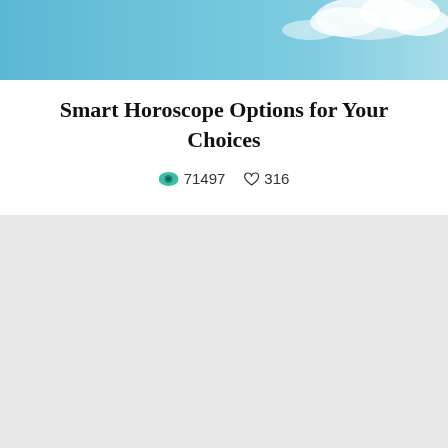[Figure (photo): Sky banner image with blue sky and white clouds]
Smart Horoscope Options for Your Choices
👁 71497  ♡ 316
[Figure (other): Gray placeholder content area]